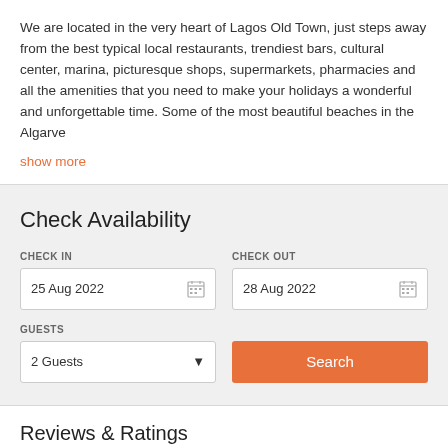We are located in the very heart of Lagos Old Town, just steps away from the best typical local restaurants, trendiest bars, cultural center, marina, picturesque shops, supermarkets, pharmacies and all the amenities that you need to make your holidays a wonderful and unforgettable time. Some of the most beautiful beaches in the Algarve
show more
Check Availability
CHECK IN
25 Aug 2022
CHECK OUT
28 Aug 2022
GUESTS
2 Guests
Search
Reviews & Ratings